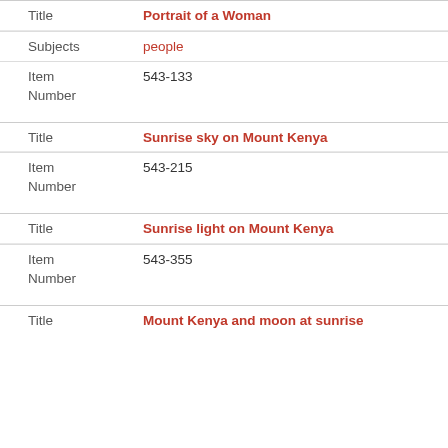| Field | Value |
| --- | --- |
| Title | Portrait of a Woman |
| Subjects | people |
| Item Number | 543-133 |
| Field | Value |
| --- | --- |
| Title | Sunrise sky on Mount Kenya |
| Item Number | 543-215 |
| Field | Value |
| --- | --- |
| Title | Sunrise light on Mount Kenya |
| Item Number | 543-355 |
| Field | Value |
| --- | --- |
| Title | Mount Kenya and moon at sunrise |